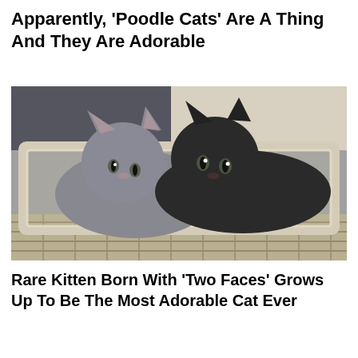Apparently, ‘Poodle Cats’ Are A Thing And They Are Adorable
[Figure (photo): Two cats sitting together in a white wooden crate/box — one grey cat on the left and one black cat on the right, both looking at the camera. The box sits on a woven basket surface with a fluffy white background.]
Rare Kitten Born With ‘Two Faces’ Grows Up To Be The Most Adorable Cat Ever